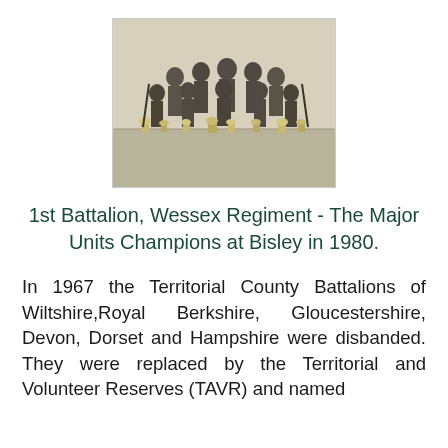[Figure (photo): Black and white group photograph of soldiers from the 1st Battalion, Wessex Regiment, posed outdoors with trophies in front of them at Bisley, 1980.]
1st Battalion, Wessex Regiment - The Major Units Champions at Bisley in 1980.
In 1967 the Territorial County Battalions of Wiltshire,Royal Berkshire, Gloucestershire, Devon, Dorset and Hampshire were disbanded. They were replaced by the Territorial and Volunteer Reserves (TAVR) and named (The next sentence continues below...)